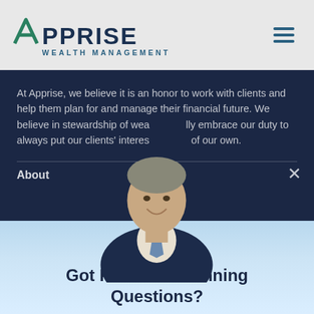Apprise Wealth Management
At Apprise, we believe it is an honor to work with clients and help them plan for and manage their financial future. We believe in stewardship of wealth and fully embrace our duty to always put our clients' interests ahead of our own.
[Figure (photo): Portrait of a smiling man in a dark suit and blue tie, overlapping the navy and light blue sections]
Got Financial Planning Questions?